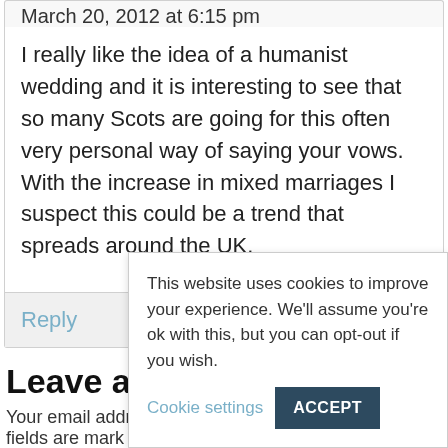March 20, 2012 at 6:15 pm
I really like the idea of a humanist wedding and it is interesting to see that so many Scots are going for this often very personal way of saying your vows. With the increase in mixed marriages I suspect this could be a trend that spreads around the UK.
Reply
Leave a C
Your email addr fields are mark
Comment
This website uses cookies to improve your experience. We'll assume you're ok with this, but you can opt-out if you wish. Cookie settings ACCEPT